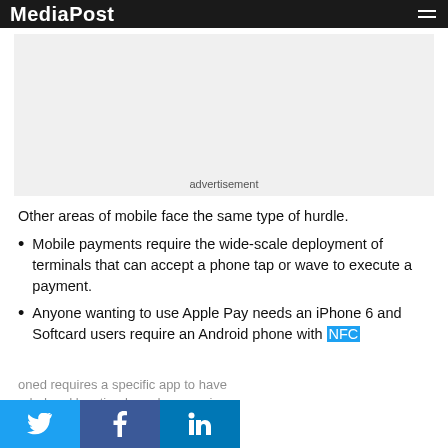MediaPost
[Figure (other): Advertisement placeholder — light grey rectangle with 'advertisement' label at bottom center]
Other areas of mobile face the same type of hurdle.
Mobile payments require the wide-scale deployment of terminals that can accept a phone tap or wave to execute a payment.
Anyone wanting to use Apple Pay needs an iPhone 6 and Softcard users require an Android phone with NFC
oned requires a specific app to have loaded and location-based messaging